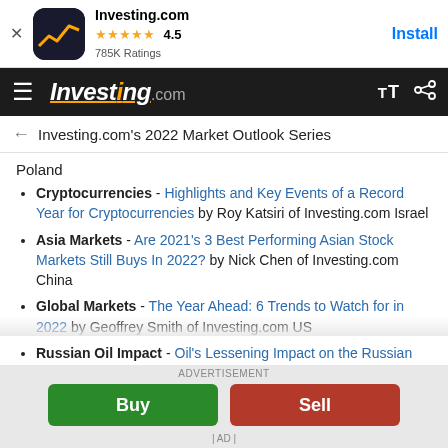[Figure (screenshot): Investing.com app banner with icon, 4.5 star rating, 785K ratings, and Install button]
Investing.com navigation bar with hamburger menu, Investing.com logo, font size and share icons
← Investing.com's 2022 Market Outlook Series
Poland
Cryptocurrencies - Highlights and Key Events of a Record Year for Cryptocurrencies by Roy Katsiri of Investing.com Israel
Asia Markets - Are 2021's 3 Best Performing Asian Stock Markets Still Buys In 2022? by Nick Chen of Investing.com China
Global Markets - The Year Ahead: 6 Trends to Watch for in 2022 by Geoffrey Smith of Investing.com US
Russian Oil Impact - Oil's Lessening Impact on the Russian Economy and the Ruble: A Review by Yana Shebalina of Investing.com Russia
U.S. Economy - Tapering's Effect on the Economy in 2022: Less Liquidity, More Volatility by Cariuan Cruz of Investing.com Mexico
[Figure (screenshot): Advertisement bar with Buy and Sell buttons and AD label]